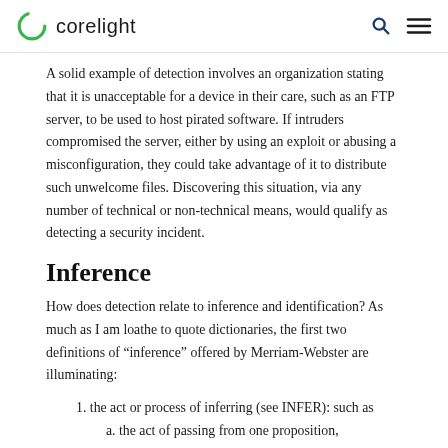corelight
A solid example of detection involves an organization stating that it is unacceptable for a device in their care, such as an FTP server, to be used to host pirated software. If intruders compromised the server, either by using an exploit or abusing a misconfiguration, they could take advantage of it to distribute such unwelcome files. Discovering this situation, via any number of technical or non-technical means, would qualify as detecting a security incident.
Inference
How does detection relate to inference and identification? As much as I am loathe to quote dictionaries, the first two definitions of “inference” offered by Merriam-Webster are illuminating:
1. the act or process of inferring (see INFER): such as
a. the act of passing from one proposition,